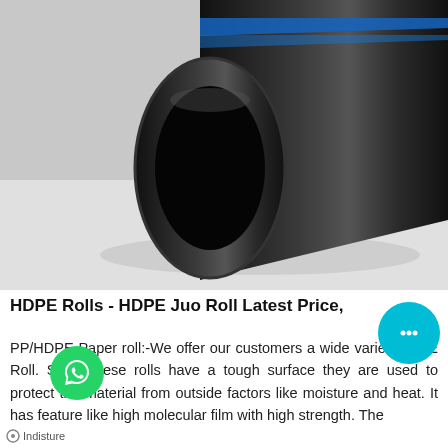[Figure (photo): Close-up photo of a black HDPE pipe with blue stripe lines along its length, lying on a white/grey surface. The pipe's circular hollow end is visible in the foreground.]
HDPE Rolls - HDPE Juo Roll Latest Price,
PP/HDPE Paper roll:-We offer our customers a wide variety of PE Roll. Since these rolls have a tough surface they are used to protect the material from outside factors like moisture and heat. It has feature like high molecular film with high strength. The...